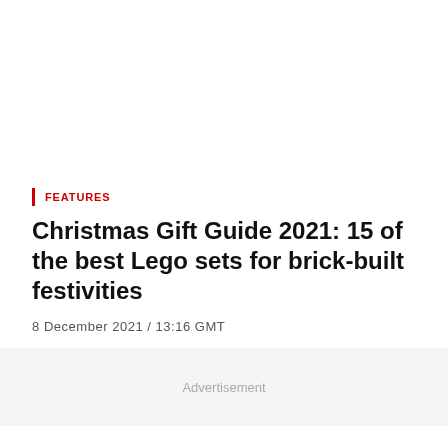FEATURES
Christmas Gift Guide 2021: 15 of the best Lego sets for brick-built festivities
8 December 2021 / 13:16 GMT
Advertisement